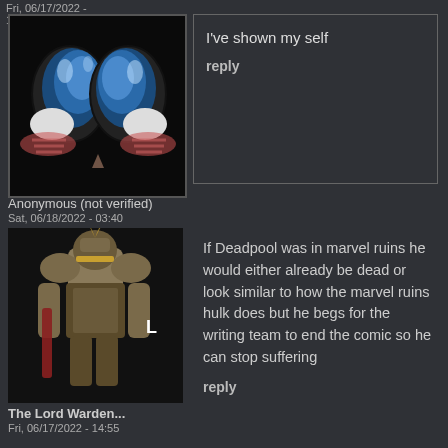Fri, 06/17/2022 - 16:37
[Figure (photo): Close-up of a cartoon/game character face with large blue oval eyes, white sclera, pink blush marks on cheeks, small triangular nose, on a black background]
Anonymous (not verified)
Sat, 06/18/2022 - 03:40
I've shown my self
reply
[Figure (photo): Armored warrior/knight character in fantasy game armor holding a weapon, standing pose on dark background, with letter L overlay]
The Lord Warden...
Fri, 06/17/2022 - 14:55
If Deadpool was in marvel ruins he would either already be dead or look similar to how the marvel ruins hulk does but he begs for the writing team to end the comic so he can stop suffering
reply